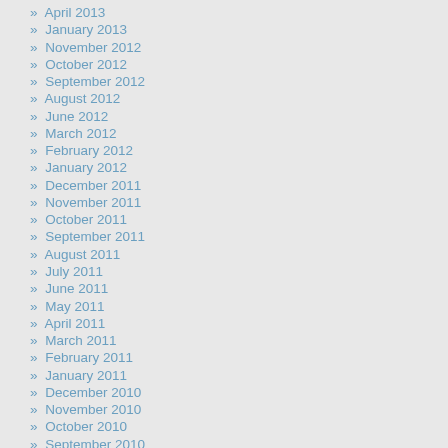» April 2013
» January 2013
» November 2012
» October 2012
» September 2012
» August 2012
» June 2012
» March 2012
» February 2012
» January 2012
» December 2011
» November 2011
» October 2011
» September 2011
» August 2011
» July 2011
» June 2011
» May 2011
» April 2011
» March 2011
» February 2011
» January 2011
» December 2010
» November 2010
» October 2010
» September 2010
» August 2010
» July 2010
» June 2010
» May 2010
» April 2010
» March 2010